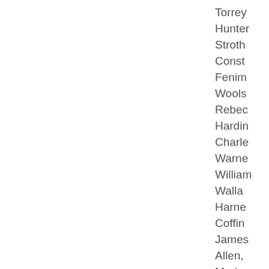Torrey
Hunter
Stroth
Const
Fenim
Wools
Rebec
Hardin
Charle
Warne
William
Walla
Harne
Coffin
James
Allen,
Meriw
Marga
Johan
B. Du
Jehu
Georg
Dimm